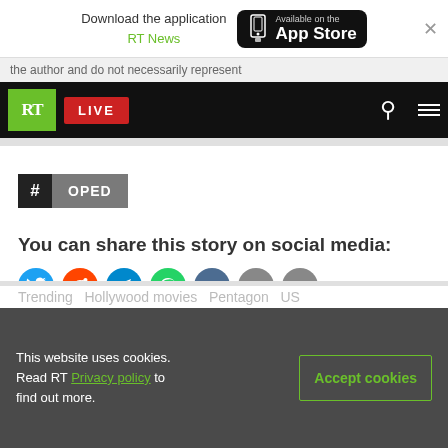Download the application RT News — Available on the App Store
the author and do not necessarily represent
[Figure (logo): RT logo green square with white RT text]
LIVE
# OPED
You can share this story on social media:
[Figure (illustration): Social media share icons: Twitter, Reddit, Telegram, WhatsApp, VK, Email, Link]
Trending  Hollywood movies  Pentagon  US
This website uses cookies. Read RT Privacy policy to find out more.
Accept cookies